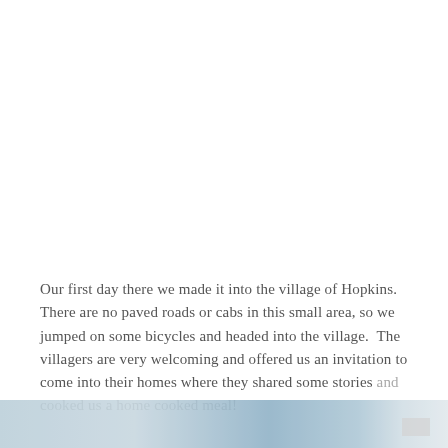Our first day there we made it into the village of Hopkins.  There are no paved roads or cabs in this small area, so we jumped on some bicycles and headed into the village.  The villagers are very welcoming and offered us an invitation to come into their homes where they shared some stories and cooked us a home cooked meal!
[Figure (photo): A partial image strip at the bottom of the page showing what appears to be a village or outdoor scene with blue/grey tones, partially visible.]